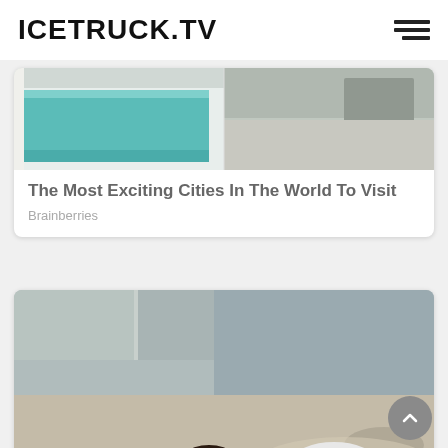ICETRUCK.TV
[Figure (photo): Aerial photo of swimming pool area split into two panels]
The Most Exciting Cities In The World To Visit
Brainberries
[Figure (photo): Top half shows concrete/pool area from above; bottom half shows a woman lying on concrete ground in casual clothing]
12 Wardrobe Items You Need If You Have A